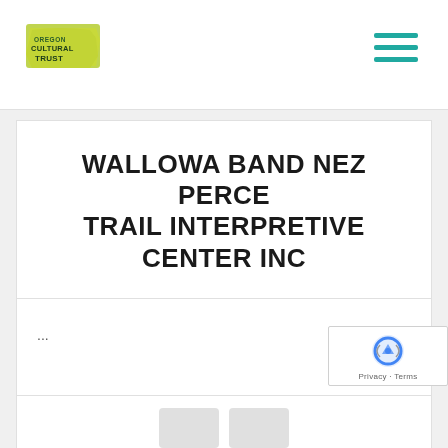Oregon Cultural Trust — navigation header with logo and hamburger menu
WALLOWA BAND NEZ PERCE TRAIL INTERPRETIVE CENTER INC
...
VIEW NONPROFIT